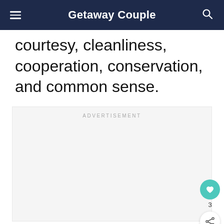Getaway Couple
courtesy, cleanliness, cooperation, conservation, and common sense.
[Figure (other): Advertisement placeholder box with light gray background and 'ADVERTISEMENT' label at top center]
[Figure (other): Floating action buttons: heart/like button (teal circle) with count '3', and share button (white circle)]